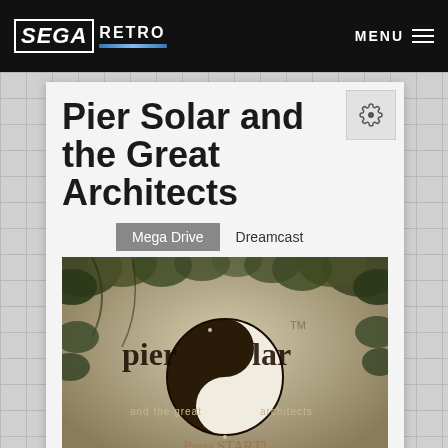SEGA RETRO  MENU
Pier Solar and the Great Architects
Mega Drive  Dreamcast
[Figure (screenshot): Pier Solar and the Great Architects game title screen showing the game logo with a yin-yang symbol, foliage decorations, 'Press START!' text, and 'Pier Solar, ©WaterMelon 2010' copyright notice]
Pier Solar and the Great Architects